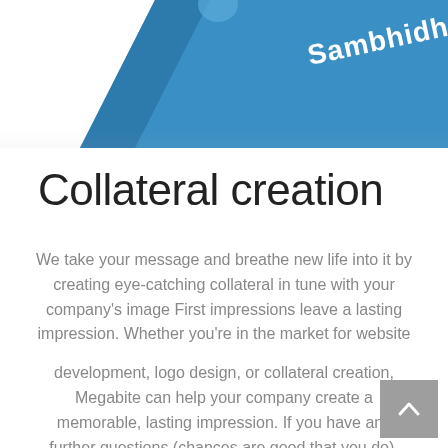[Figure (illustration): Partial view of a blue angled card/booklet with white text reading 'Sambhidha' (partially visible), shown from above on a white background.]
Collateral creation
We take your message and breathe new life into it by creating eye-catching collateral in tune with your company's image First impressions leave a lasting impression. Whether you're in the market for website development, logo design, or collateral creation, Megabite can help your company create a memorable, lasting impression. If you have any further questions (chances are good that you do), please post them in the comments section so we can all learn together. or